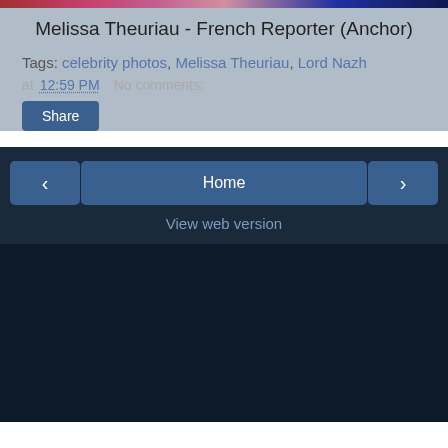[Figure (photo): Cropped image strip at top of page showing a person, colorful and patterned clothing]
Melissa Theuriau - French Reporter (Anchor)
Tags: celebrity photos, Melissa Theuriau, Lord Nazh
at 12:59 PM   No comments:
Share
‹   Home   ›   View web version